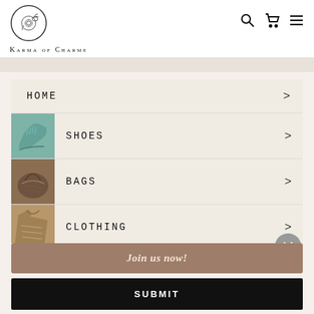[Figure (logo): Karma of Charme circular logo with decorative illustration]
Karma of Charme
HOME
SHOES
BAGS
CLOTHING
Join us now!
SUBMIT